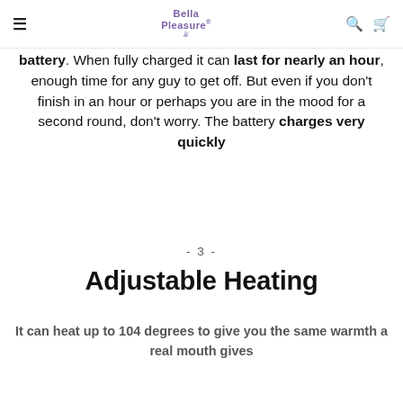Bella Pleasure
battery. When fully charged it can last for nearly an hour, enough time for any guy to get off. But even if you don't finish in an hour or perhaps you are in the mood for a second round, don't worry. The battery charges very quickly
- 3 -
Adjustable Heating
It can heat up to 104 degrees to give you the same warmth a real mouth gives